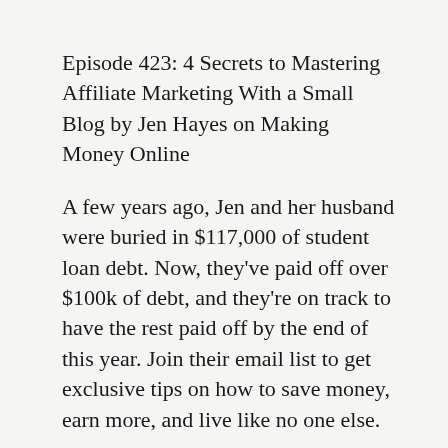Episode 423: 4 Secrets to Mastering Affiliate Marketing With a Small Blog by Jen Hayes on Making Money Online
A few years ago, Jen and her husband were buried in $117,000 of student loan debt. Now, they've paid off over $100k of debt, and they're on track to have the rest paid off by the end of this year. Join their email list to get exclusive tips on how to save money, earn more, and live like no one else.